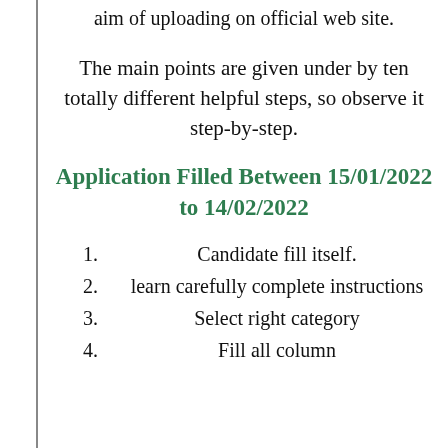aim of uploading on official web site.
The main points are given under by ten totally different helpful steps, so observe it step-by-step.
Application Filled Between 15/01/2022 to 14/02/2022
1. Candidate fill itself.
2. learn carefully complete instructions
3. Select right category
4. Fill all column